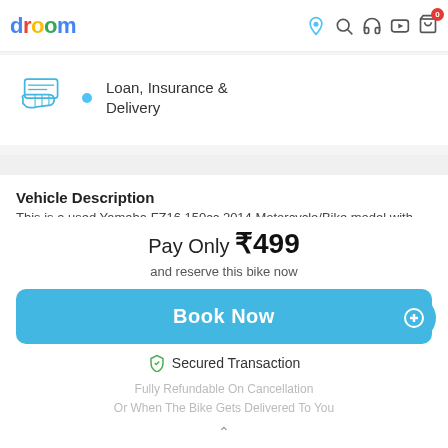droom
[Figure (illustration): Droom app screenshot showing Loan, Insurance & Delivery option with hand-and-card icon]
Loan, Insurance & Delivery
Vehicle Description
This is a used Yamaha FZ16 150cc 2014 Motorcycle/Bike model with Matchmaking Category as Motorcycle/Bike. The specifications of th...
Pay Only ₹499
and reserve this bike now
Book Now
Secured Transaction
Fully Refundable On Cancellation
Or When The Bike Gets Delivered To You